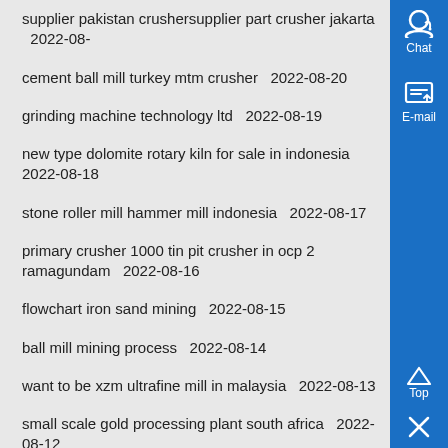supplier pakistan crushersupplier part crusher jakarta  2022-08-
cement ball mill turkey mtm crusher  2022-08-20
grinding machine technology ltd  2022-08-19
new type dolomite rotary kiln for sale in indonesia  2022-08-18
stone roller mill hammer mill indonesia  2022-08-17
primary crusher 1000 tin pit crusher in ocp 2 ramagundam  2022-08-16
flowchart iron sand mining  2022-08-15
ball mill mining process  2022-08-14
want to be xzm ultrafine mill in malaysia  2022-08-13
small scale gold processing plant south africa  2022-08-12
jaw crusher plant of tph  2022-08-11
belt conveyor pulley design pdf  2022-08-10